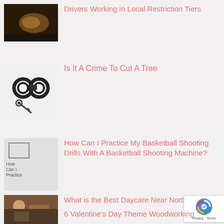[Figure (photo): Dark-toned thumbnail image, appears to be a car interior or similar]
Drivers Working in Local Restriction Tiers
[Figure (photo): Black handcuffs and keys on white background]
Is It A Crime To Cut A Tree
[Figure (photo): Broken image placeholder with alt text 'How Can I Practice']
How Can I Practice My Basketball Shooting Drills With A Basketball Shooting Machine?
[Figure (photo): Child at a table with colorful items, daycare setting]
What is the Best Daycare Near Northville MI?
[Figure (photo): Partially visible thumbnail, woodworking theme]
6 Valentine's Day Theme Woodworking